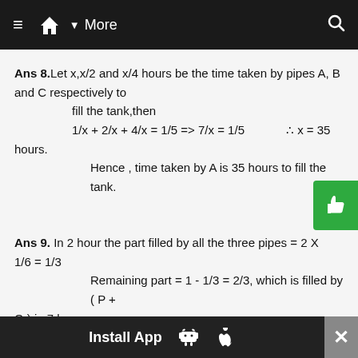≡  🏠  ▾ More    🔍
Ans 8. Let x,x/2 and x/4 hours be the time taken by pipes A, B and C respectively to fill the tank,then
1/x + 2/x + 4/x = 1/5 => 7/x = 1/5    ∴ x = 35 hours.
Hence , time taken by A is 35 hours to fill the tank.
Ans 9. In 2 hour the part filled by all the three pipes = 2 X 1/6 = 1/3
Remaining part = 1 - 1/3 = 2/3, which is filled by ( P + Q ) in 7 hours
Install App  [Android] [Apple]  ×